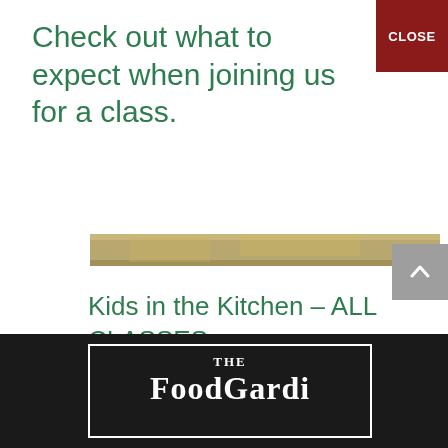Check out what to expect when joining us for a class.
[Figure (photo): Partial view of food or cooking-related image strip]
Kids in the Kitchen – ALL CLASSES
$290.00
[Figure (logo): THE FoodGardli... logo in white on black background with white border rectangle]
Footer with logo: THE [FoodGardenli...]